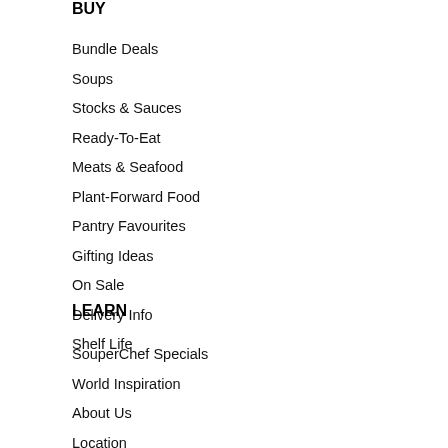BUY
Bundle Deals
Soups
Stocks & Sauces
Ready-To-Eat
Meats & Seafood
Plant-Forward Food
Pantry Favourites
Gifting Ideas
On Sale
Delivery Info
Shelf Life
LEARN
SouperChef Specials
World Inspiration
About Us
Location